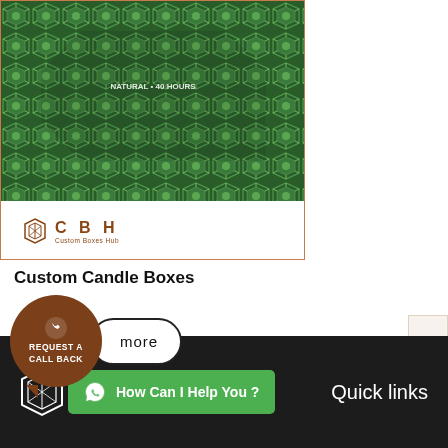[Figure (photo): Custom Candle Box product image with decorative green/blue geometric pattern, shown with CBH Custom Boxes Hub logo]
Custom Candle Boxes
[Figure (infographic): Brown speech bubble with phone icon and text REQUEST A CALL BACK, alongside a pill-shaped button with text 'more']
[Figure (infographic): Quick Quote vertical tab on the right side]
[Figure (logo): CBH Custom Boxes Hub white logo on dark footer]
[Figure (infographic): Green WhatsApp button with text 'How Can I Help You ?']
Quick links